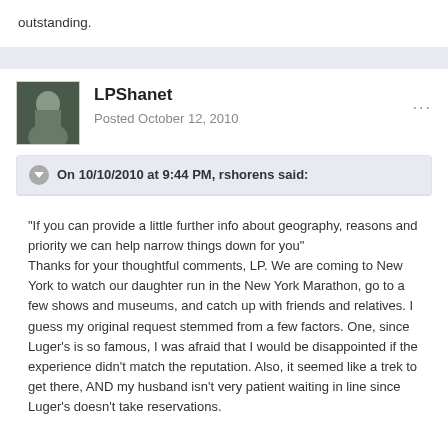outstanding.
LPShanet
Posted October 12, 2010
On 10/10/2010 at 9:44 PM, rshorens said:
"If you can provide a little further info about geography, reasons and priority we can help narrow things down for you"
Thanks for your thoughtful comments, LP. We are coming to New York to watch our daughter run in the New York Marathon, go to a few shows and museums, and catch up with friends and relatives. I guess my original request stemmed from a few factors. One, since Luger's is so famous, I was afraid that I would be disappointed if the experience didn't match the reputation. Also, it seemed like a trek to get there, AND my husband isn't very patient waiting in line since Luger's doesn't take reservations.